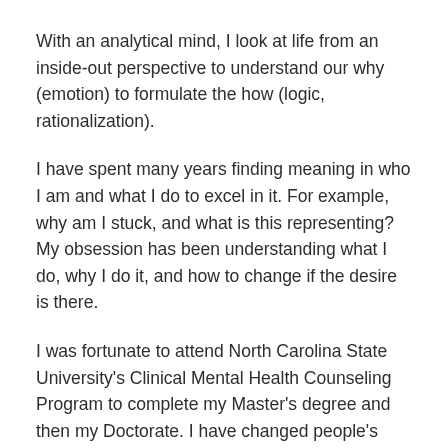With an analytical mind, I look at life from an inside-out perspective to understand our why (emotion) to formulate the how (logic, rationalization).
I have spent many years finding meaning in who I am and what I do to excel in it. For example, why am I stuck, and what is this representing? My obsession has been understanding what I do, why I do it, and how to change if the desire is there.
I was fortunate to attend North Carolina State University's Clinical Mental Health Counseling Program to complete my Master's degree and then my Doctorate. I have changed people's perspectives and understandings of themselves and their